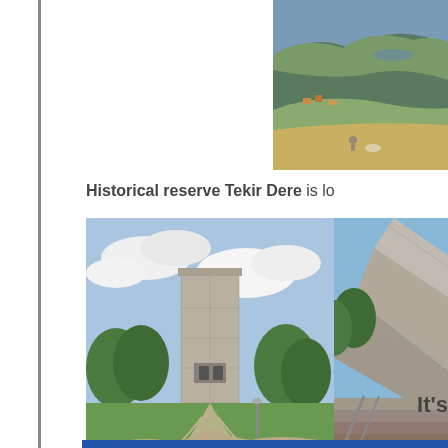[Figure (photo): Aerial/landscape view of a valley with hills and scattered buildings, partially visible in top-right corner]
Historical reserve Tekir Dere is lo...
[Figure (photo): Concrete monument tower surrounded by trees and a pathway in a park setting]
[Figure (photo): Angled concrete monument or memorial structure against a blue sky, partially visible]
It's...